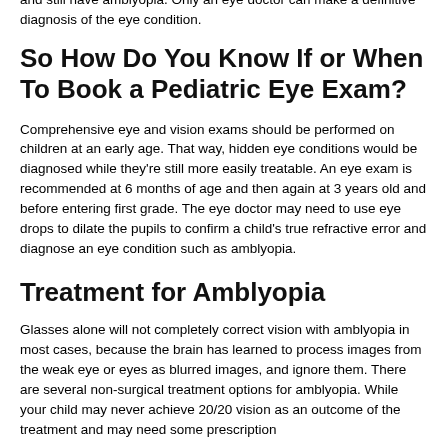and still have amblyopia. Only an eye doctor can make a definitive diagnosis of the eye condition.
So How Do You Know If or When To Book a Pediatric Eye Exam?
Comprehensive eye and vision exams should be performed on children at an early age. That way, hidden eye conditions would be diagnosed while they're still more easily treatable. An eye exam is recommended at 6 months of age and then again at 3 years old and before entering first grade. The eye doctor may need to use eye drops to dilate the pupils to confirm a child's true refractive error and diagnose an eye condition such as amblyopia.
Treatment for Amblyopia
Glasses alone will not completely correct vision with amblyopia in most cases, because the brain has learned to process images from the weak eye or eyes as blurred images, and ignore them. There are several non-surgical treatment options for amblyopia. While your child may never achieve 20/20 vision as an outcome of the treatment and may need some prescription